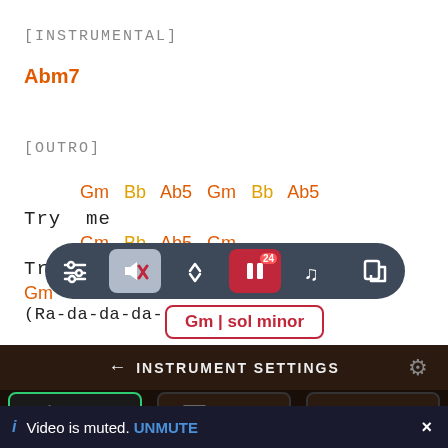[INSTRUMENTAL]
Abm7
[OUTRO]
Gm  Bb  Ab5  Gm  Bb  Ab5
Try  me
Gm  Bb  Ab5  Gm
Tr
Gm
(Ra-da-da-da-
[Figure (screenshot): Music app toolbar with controls: settings sliders, muted speaker, up/down arrows, pause button with badge 24, music note, and resize icon]
Gm | sol minor
← INSTRUMENT SETTINGS
🎸 GUITAR   🎹 PIANO   🎸 UKULELE
i  Video is muted.  UNMUTE  ×